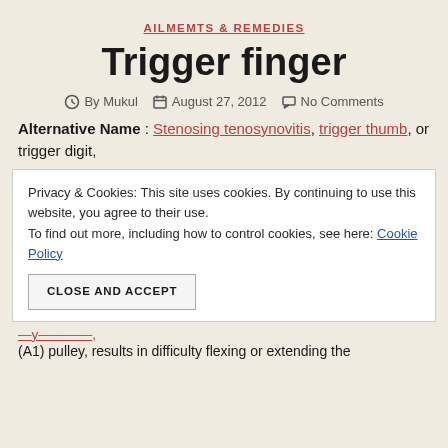AILMEMTS & REMEDIES
Trigger finger
By Mukul   August 27, 2012   No Comments
Alternative Name : Stenosing tenosynovitis, trigger thumb, or trigger digit,
Privacy & Cookies: This site uses cookies. By continuing to use this website, you agree to their use. To find out more, including how to control cookies, see here: Cookie Policy
CLOSE AND ACCEPT
(A1) pulley, results in difficulty flexing or extending the